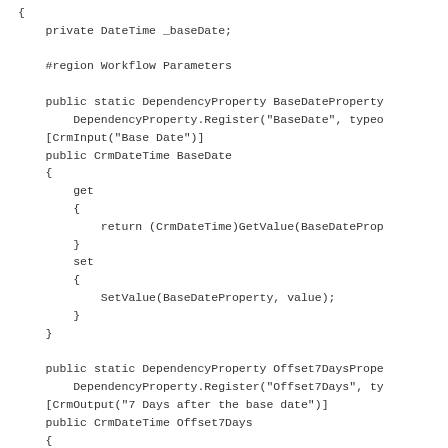{ ... (preceding line cut off) }
    private DateTime _baseDate;

    #region Workflow Parameters

    public static DependencyProperty BaseDateProperty = 
        DependencyProperty.Register("BaseDate", typeo
    [CrmInput("Base Date")]
    public CrmDateTime BaseDate
    {
        get
        {
            return (CrmDateTime)GetValue(BaseDateProp
        }
        set
        {
            SetValue(BaseDateProperty, value);
        }
    }

    public static DependencyProperty Offset7DaysPrope
        DependencyProperty.Register("Offset7Days", ty
    [CrmOutput("7 Days after the base date")]
    public CrmDateTime Offset7Days
    {
        get
        {